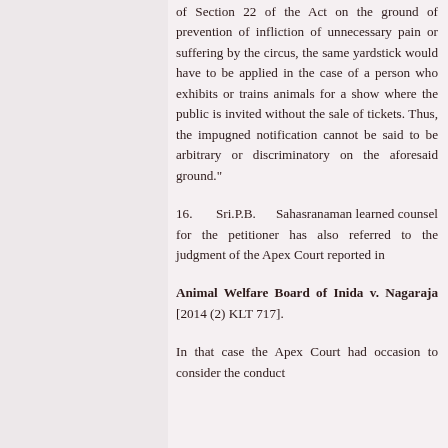of Section 22 of the Act on the ground of prevention of infliction of unnecessary pain or suffering by the circus, the same yardstick would have to be applied in the case of a person who exhibits or trains animals for a show where the public is invited without the sale of tickets. Thus, the impugned notification cannot be said to be arbitrary or discriminatory on the aforesaid ground."
16.   Sri.P.B.   Sahasranaman learned counsel for the petitioner has also referred to the judgment of the Apex Court reported in
Animal Welfare Board of Inida v. Nagaraja [2014 (2) KLT 717].
In that case the Apex Court had occasion to consider the conduct